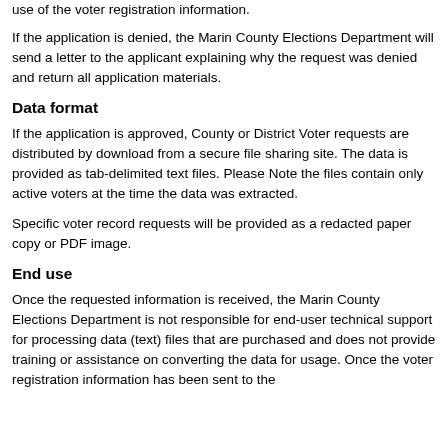use of the voter registration information.
If the application is denied, the Marin County Elections Department will send a letter to the applicant explaining why the request was denied and return all application materials.
Data format
If the application is approved, County or District Voter requests are distributed by download from a secure file sharing site. The data is provided as tab-delimited text files. Please Note the files contain only active voters at the time the data was extracted.
Specific voter record requests will be provided as a redacted paper copy or PDF image.
End use
Once the requested information is received, the Marin County Elections Department is not responsible for end-user technical support for processing data (text) files that are purchased and does not provide training or assistance on converting the data for usage. Once the voter registration information has been sent to the